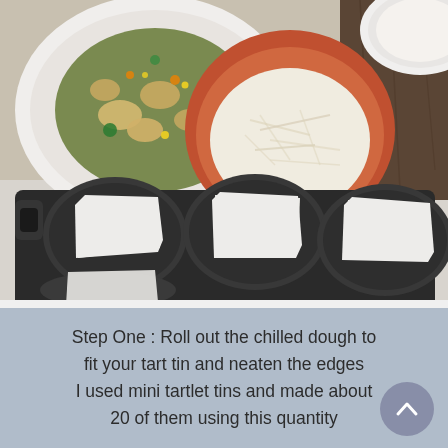[Figure (photo): Top-down view of food preparation. Upper portion shows a white plate with chicken and vegetables, a terracotta bowl filled with shredded cheese, and a white bowl partially visible. Lower portion shows a dark baking tray holding four fluted tartlet tins lined with white baking parchment paper.]
Step One : Roll out the chilled dough to fit your tart tin and neaten the edges I used mini tartlet tins and made about 20 of them using this quantity